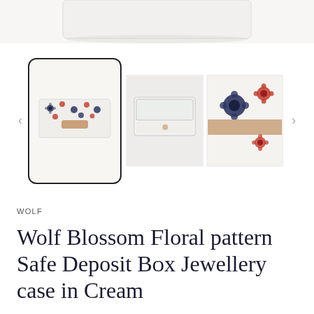[Figure (photo): Partial top view of a white jewellery box with floral pattern, cropped at the top of the page]
[Figure (photo): Product image carousel with three thumbnail images of the Wolf Blossom jewellery box: left selected thumbnail shows top view with floral pattern, middle shows open box with glass lid containing jewellery, right shows close-up of floral pattern and tan strap]
WOLF
Wolf Blossom Floral pattern Safe Deposit Box Jewellery case in Cream